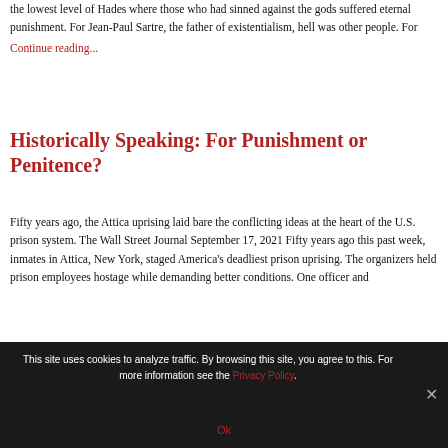the lowest level of Hades where those who had sinned against the gods suffered eternal punishment. For Jean-Paul Sartre, the father of existentialism, hell was other people. For
Continue reading...
Historically Speaking: For Punishment or Penitence?
Fifty years ago, the Attica uprising laid bare the conflicting ideas at the heart of the U.S. prison system. The Wall Street Journal September 17, 2021 Fifty years ago this past week, inmates in Attica, New York, staged America's deadliest prison uprising. The organizers held prison employees hostage while demanding better conditions. One officer and
This site uses cookies to analyze traffic. By browsing this site, you agree to this. For more information see the Privacy Policy.
Ok